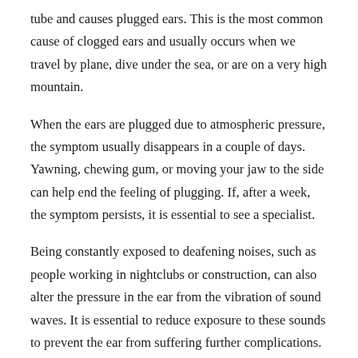tube and causes plugged ears. This is the most common cause of clogged ears and usually occurs when we travel by plane, dive under the sea, or are on a very high mountain.
When the ears are plugged due to atmospheric pressure, the symptom usually disappears in a couple of days. Yawning, chewing gum, or moving your jaw to the side can help end the feeling of plugging. If, after a week, the symptom persists, it is essential to see a specialist.
Being constantly exposed to deafening noises, such as people working in nightclubs or construction, can also alter the pressure in the ear from the vibration of sound waves. It is essential to reduce exposure to these sounds to prevent the ear from suffering further complications.
Ménière's disease